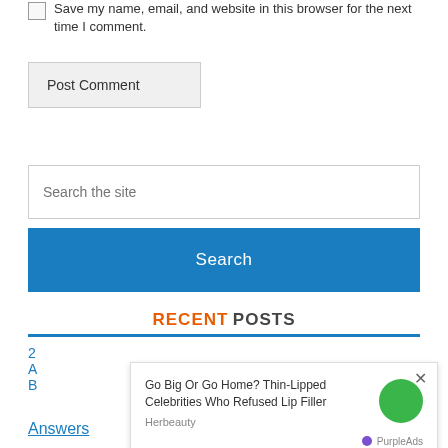Save my name, email, and website in this browser for the next time I comment.
Post Comment
Search the site
Search
RECENT POSTS
Go Big Or Go Home? Thin-Lipped Celebrities Who Refused Lip Filler
Herbeauty
PurpleAds
Answers